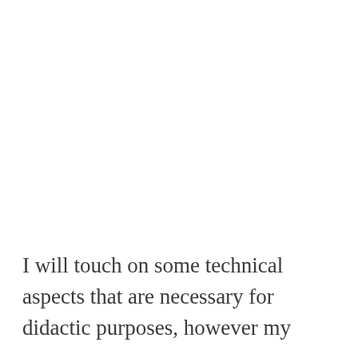I will touch on some technical aspects that are necessary for didactic purposes, however my